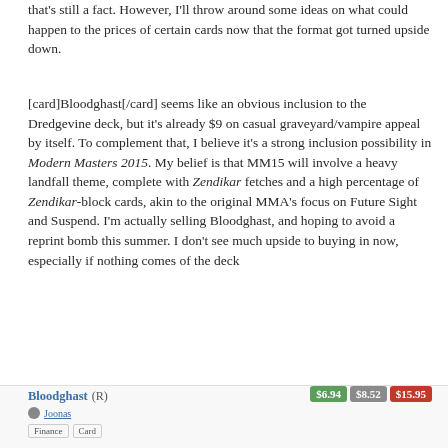that's still a fact. However, I'll throw around some ideas on what could happen to the prices of certain cards now that the format got turned upside down.
[card]Bloodghast[/card] seems like an obvious inclusion to the Dredgevine deck, but it's already $9 on casual graveyard/vampire appeal by itself. To complement that, I believe it's a strong inclusion possibility in Modern Masters 2015. My belief is that MM15 will involve a heavy landfall theme, complete with Zendikar fetches and a high percentage of Zendikar-block cards, akin to the original MMA's focus on Future Sight and Suspend. I'm actually selling Bloodghast, and hoping to avoid a reprint bomb this summer. I don't see much upside to buying in now, especially if nothing comes of the deck
Bloodghast (R) — prices: $6.94 | $8.52 | $15.95